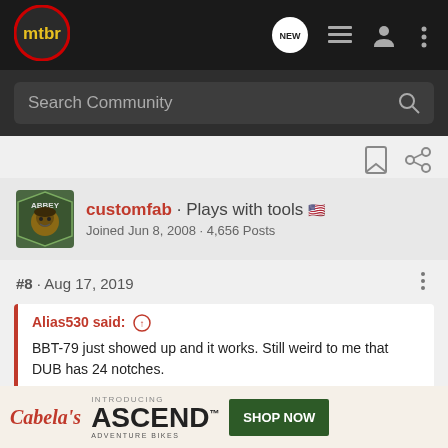[Figure (logo): mtbr logo — yellow/gold text 'mtbr' on a dark circular background with red ring]
Search Community
[Figure (photo): User avatar for customfab — cartoon bear wearing a hat, shield-shaped logo]
customfab · Plays with tools 🇺🇸
Joined Jun 8, 2008 · 4,656 Posts
#8 · Aug 17, 2019
Alias530 said: ⊕
BBT-79 just showed up and it works. Still weird to me that DUB has 24 notches.
It was a
[Figure (infographic): Cabela's advertisement banner — INTRODUCING ASCEND ADVENTURE BIKES with SHOP NOW button]